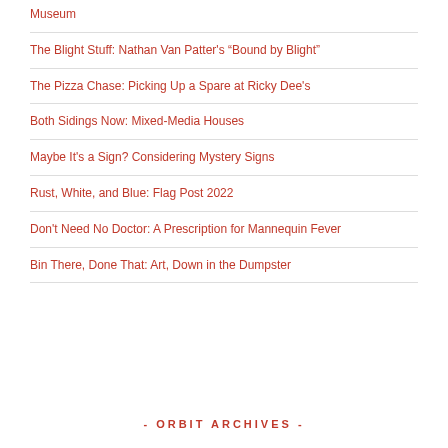Museum
The Blight Stuff: Nathan Van Patter's “Bound by Blight”
The Pizza Chase: Picking Up a Spare at Ricky Dee's
Both Sidings Now: Mixed-Media Houses
Maybe It's a Sign? Considering Mystery Signs
Rust, White, and Blue: Flag Post 2022
Don't Need No Doctor: A Prescription for Mannequin Fever
Bin There, Done That: Art, Down in the Dumpster
- ORBIT ARCHIVES -